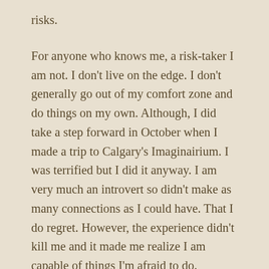risks.
For anyone who knows me, a risk-taker I am not. I don't live on the edge. I don't generally go out of my comfort zone and do things on my own. Although, I did take a step forward in October when I made a trip to Calgary's Imaginairium. I was terrified but I did it anyway. I am very much an introvert so didn't make as many connections as I could have. That I do regret. However, the experience didn't kill me and it made me realize I am capable of things I'm afraid to do.
Since then I have been working toward bettering myself. I'm taking courses, learning